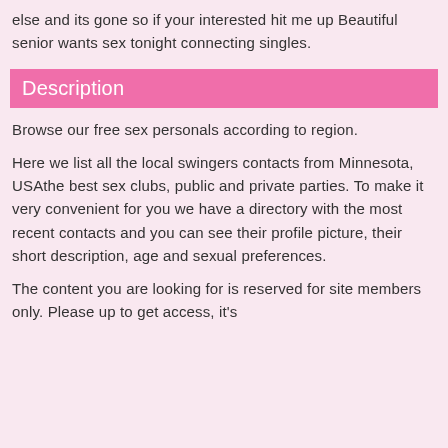else and its gone so if your interested hit me up Beautiful senior wants sex tonight connecting singles.
Description
Browse our free sex personals according to region.
Here we list all the local swingers contacts from Minnesota, USAthe best sex clubs, public and private parties. To make it very convenient for you we have a directory with the most recent contacts and you can see their profile picture, their short description, age and sexual preferences.
The content you are looking for is reserved for site members only. Please up to get access, it's